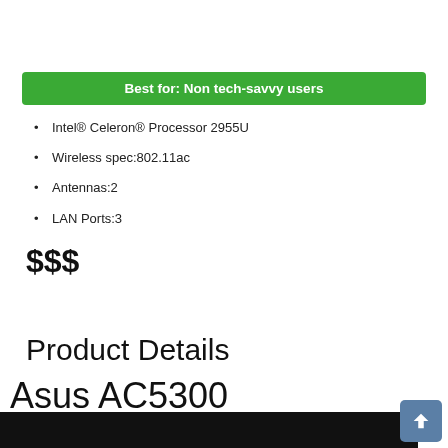Best for: Non tech-savvy users
Intel® Celeron® Processor 2955U
Wireless spec:802.11ac
Antennas:2
LAN Ports:3
$$$
Product Details
Asus AC5300